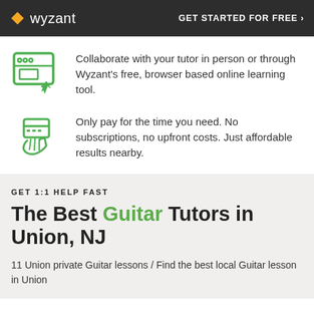wyzant  GET STARTED FOR FREE ›
Collaborate with your tutor in person or through Wyzant's free, browser based online learning tool.
Only pay for the time you need. No subscriptions, no upfront costs. Just affordable results nearby.
GET 1:1 HELP FAST
The Best Guitar Tutors in Union, NJ
11 Union private Guitar lessons / Find the best local Guitar lesson in Union